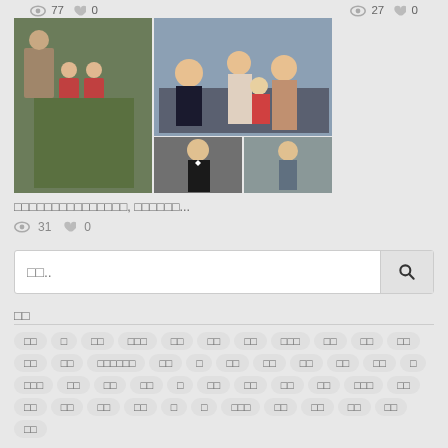77  0    27  0
[Figure (photo): Photo collage of a family group, showing multiple people including adults and children in casual and formal settings]
□□□□□□□□□□□□□□□, □□□□□□...
31  0
□□..
□□
□□  □  □□  □□□  □□  □□  □□  □□□
□□  □□  □□  □□  □□  □□□□□□  □□  □
□□  □□  □□  □□  □□  □  □□□  □□
□□  □□  □  □□  □□  □□  □□  □□□
□□  □□  □□  □□  □□  □  □  □□□
□□  □□  □□  □□  □□